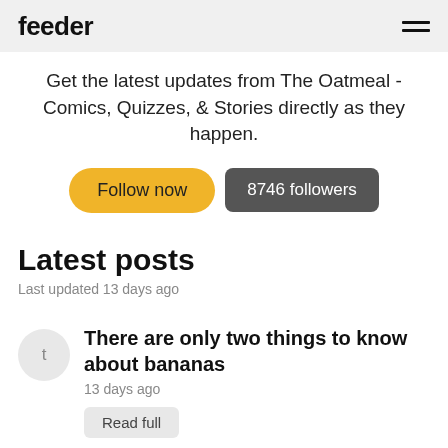feeder
Get the latest updates from The Oatmeal - Comics, Quizzes, & Stories directly as they happen.
Follow now | 8746 followers
Latest posts
Last updated 13 days ago
There are only two things to know about bananas
13 days ago
Read full
I'll give him a follow
25 days ago